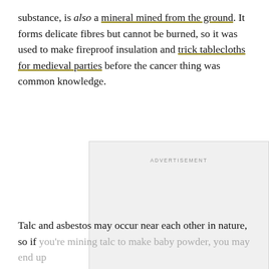substance, is also a mineral mined from the ground. It forms delicate fibres but cannot be burned, so it was used to make fireproof insulation and trick tablecloths for medieval parties before the cancer thing was common knowledge.
[Figure (other): Advertisement placeholder box with image placeholder icon and 'ADVERTISEMENT' label]
Talc and asbestos may occur near each other in nature, so if you're mining talc to make baby powder, you may end up...